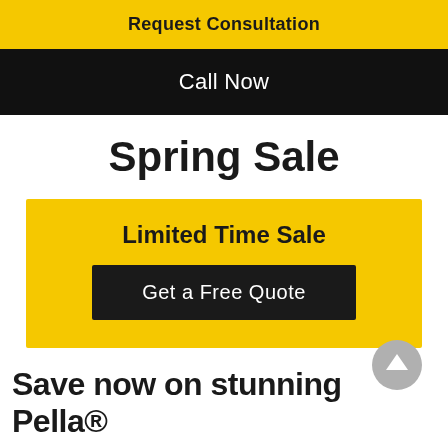Request Consultation
Call Now
Spring Sale
Limited Time Sale
Get a Free Quote
[Figure (other): Gray circular scroll-to-top arrow button]
Save now on stunning Pella®